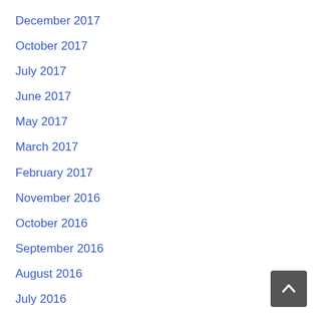December 2017
October 2017
July 2017
June 2017
May 2017
March 2017
February 2017
November 2016
October 2016
September 2016
August 2016
July 2016
June 2016
October 2015
September 2013